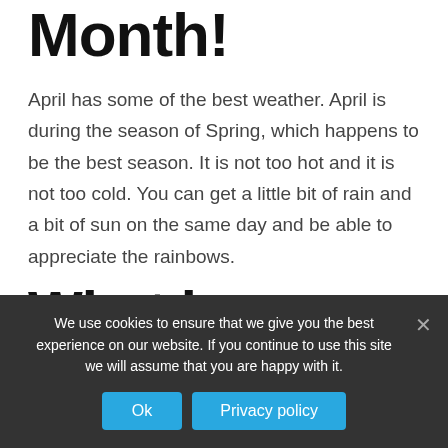Month!
April has some of the best weather. April is during the season of Spring, which happens to be the best season. It is not too hot and it is not too cold. You can get a little bit of rain and a bit of sun on the same day and be able to appreciate the rainbows.
What is special about spring
We use cookies to ensure that we give you the best experience on our website. If you continue to use this site we will assume that you are happy with it.